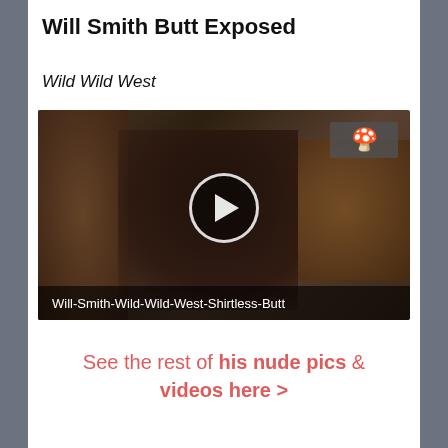Will Smith Butt Exposed
Wild Wild West
[Figure (screenshot): Video thumbnail showing a shirtless scene with a play button overlay. Label at bottom reads: Will-Smith-Wild-Wild-West-Shirtless-Butt. Small icon/logo in top right corner of the thumbnail.]
See the rest of his nude pics & videos here >